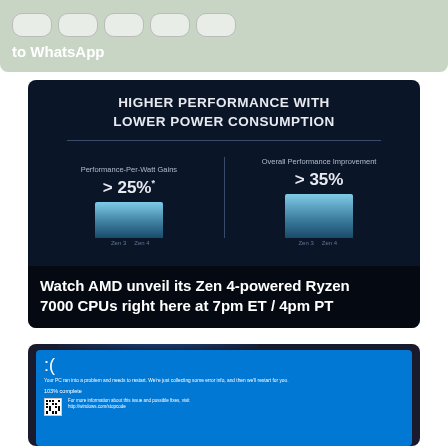[Figure (screenshot): Top card showing WhatsApp-related icons/buttons with caption 'to WhatsApp' on a green-grey background]
[Figure (infographic): AMD infographic: 'HIGHER PERFORMANCE WITH LOWER POWER CONSUMPTION'. Left column: Performance-Per-Watt Gains >25%*, Right column: Overall Performance Improvement >35%. Bar chart comparing Zen 3 vs Zen 4. Overlay text: 'Watch AMD unveil its Zen 4-powered Ryzen 7000 CPUs right here at 7pm ET / 4pm PT']
[Figure (screenshot): Windows 11 Blue Screen of Death (BSOD) screenshot. Sad face emoticon ':(' followed by 'Your PC ran into a problem and needs to restart. We're just collecting some error info, and then we'll restart for you.' 103% complete. QR code with 'For more information about this issue and possible fixes, visit http://windows.com/stopcode']